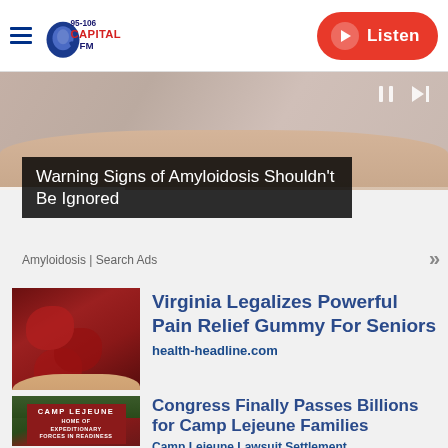95-106 Capital FM | Listen
[Figure (screenshot): Video player showing a person's arm, with playback controls (pause and skip), and a progress bar at bottom]
Warning Signs of Amyloidosis Shouldn't Be Ignored
Amyloidosis | Search Ads
[Figure (photo): A hand holding red sugar-coated gummy candies]
Virginia Legalizes Powerful Pain Relief Gummy For Seniors
health-headline.com
[Figure (photo): Camp Lejeune entrance sign reading CAMP LEJEUNE HOME OF EXPEDITIONARY FORCES IN READINESS with trees in background]
Congress Finally Passes Billions for Camp Lejeune Families
Camp Lejeune Lawsuit Settlement